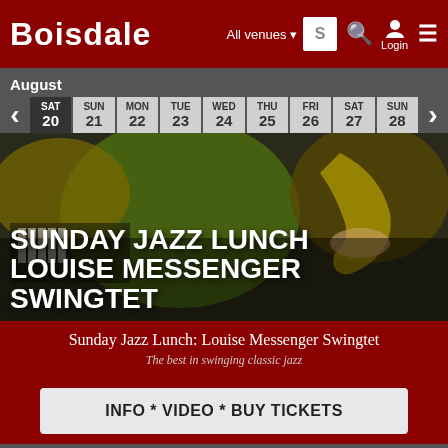BOISDALE — All venues — Login
August
| SAT | SUN | MON | TUE | WED | THU | FRI | SAT | SUN | MON |
| --- | --- | --- | --- | --- | --- | --- | --- | --- | --- |
| 20 | 21 | 22 | 23 | 24 | 25 | 26 | 27 | 28 | 29 |
[Figure (photo): Musicians playing jazz instruments — saxophone, piano, green-lit performer. Text overlay reads SUNDAY JAZZ LUNCH / LOUISE MESSENGER SWINGTET in large white bold capital letters.]
Sunday Jazz Lunch: Louise Messenger Swingtet
The best in swinging classic jazz
INFO * VIDEO * BUY TICKETS